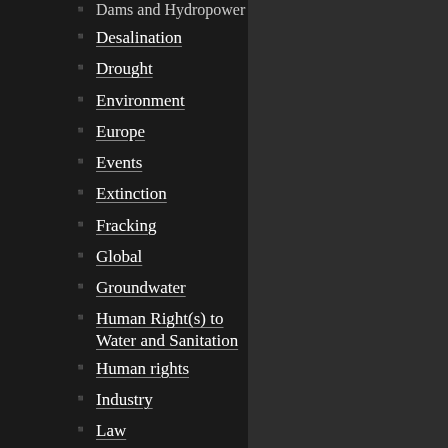Dams and Hydropower
Desalination
Drought
Environment
Europe
Events
Extinction
Fracking
Global
Groundwater
Human Right(s) to Water and Sanitation
Human rights
Industry
Law
Middle East
Natural Disasters
NGOs
North America
Oceans